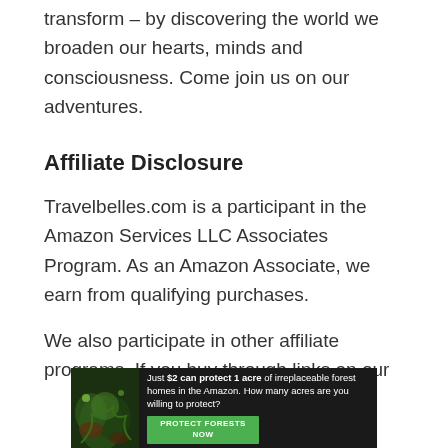transform – by discovering the world we broaden our hearts, minds and consciousness. Come join us on our adventures.
Affiliate Disclosure
Travelbelles.com is a participant in the Amazon Services LLC Associates Program. As an Amazon Associate, we earn from qualifying purchases.
We also participate in other affiliate programs. If you buy through links on our
[Figure (other): Advertisement banner: dark background with forest/jungle image on left side. Text reads 'Just $2 can protect 1 acre of irreplaceable forest homes in the Amazon. How many acres are you willing to protect?' with a green 'PROTECT FORESTS NOW' button.]